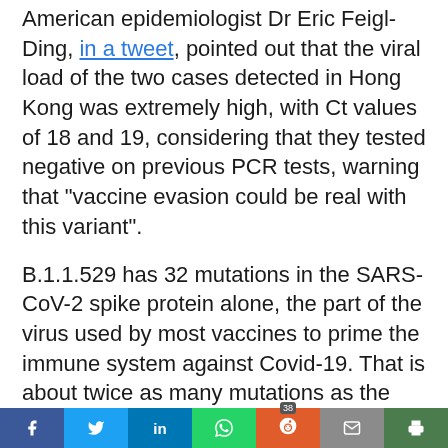American epidemiologist Dr Eric Feigl-Ding, in a tweet, pointed out that the viral load of the two cases detected in Hong Kong was extremely high, with Ct values of 18 and 19, considering that they tested negative on previous PCR tests, warning that "vaccine evasion could be real with this variant".
B.1.1.529 has 32 mutations in the SARS-CoV-2 spike protein alone, the part of the virus used by most vaccines to prime the immune system against Covid-19. That is about twice as many mutations as the Delta variant.
Many countries, including the United Kingdom, have moved swiftly to ban flights